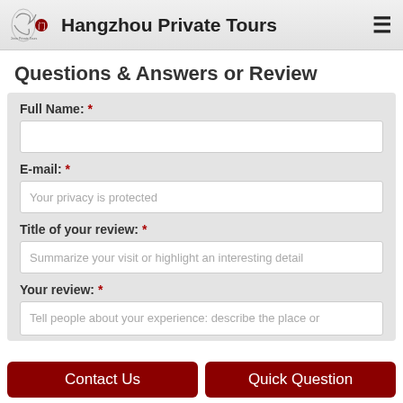Hangzhou Private Tours
Questions & Answers or Review
Full Name: *
E-mail: * [Your privacy is protected]
Title of your review: * [Summarize your visit or highlight an interesting detail]
Your review: * [Tell people about your experience: describe the place or]
Contact Us | Quick Question